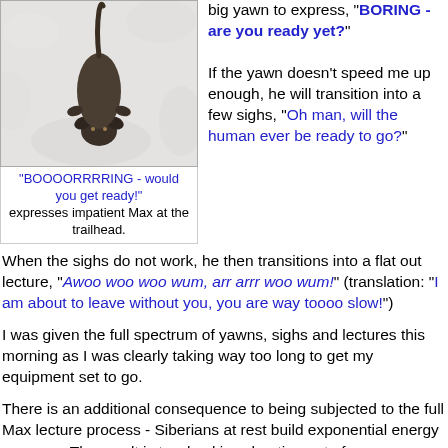[Figure (photo): A husky dog photographed from above against a snowy background, appearing to look up at the camera.]
"BOOOORRRRING - would you get ready!" expresses impatient Max at the trailhead.
big yawn to express, "BORING - are you ready yet?"

If the yawn doesn't speed me up enough, he will transition into a few sighs, "Oh man, will the human ever be ready to go?"
When the sighs do not work, he then transitions into a flat out lecture, "Awoo woo woo wum, arr arrr woo wum!" (translation: "I am about to leave without you, you are way toooo slow!")
I was given the full spectrum of yawns, sighs and lectures this morning as I was clearly taking way too long to get my equipment set to go.
There is an additional consequence to being subjected to the full Max lecture process - Siberians at rest build exponential energy reserves. The result is two huskies shooting out of a